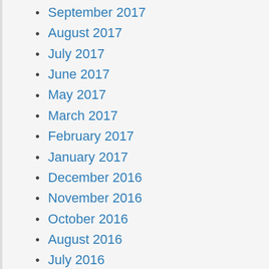September 2017
August 2017
July 2017
June 2017
May 2017
March 2017
February 2017
January 2017
December 2016
November 2016
October 2016
August 2016
July 2016
May 2016
March 2016
February 2016